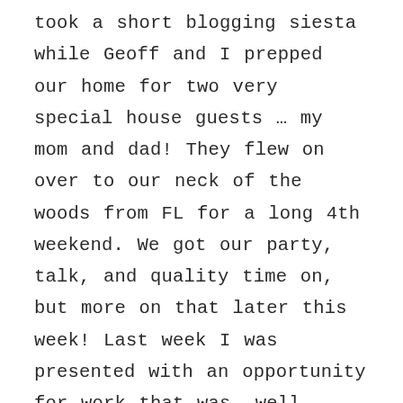took a short blogging siesta while Geoff and I prepped our home for two very special house guests … my mom and dad! They flew on over to our neck of the woods from FL for a long 4th weekend. We got our party, talk, and quality time on, but more on that later this week! Last week I was presented with an opportunity for work that was, well, outside my comfort area and norm.  I've been looking for a little extra work in addition to nannying, so I spread my work wings and flew on over to Microsoft headquarters for a temp job!  As I stood there waiting for my new badge, I overheard conversations consisting of virtual islands and thermal imaging. um, what?? Listen, I looove me a nerdy nerd, don't get me wrong … but this was a person's light n' casual